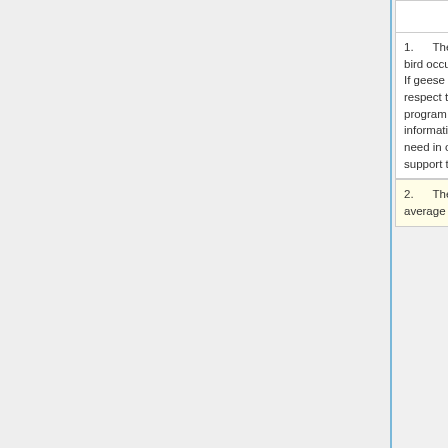Discussion<br>
Discussion<br>
1.    The last airline fatality from a bird occurred almost 50 years ago.  If geese were only a problem with respect to airline safety, might this program be “overkill”?  What information and/or data might you need in order to decide whether to support this program?<br>
1.    The last airline fatality from a bird occurred almost 50 years ago.  If geese were only a problem with respect to airline safety, might this program be “overkill”?  What information and/or data might you need in order to decide whether to support this program?<br>
2.    The article tells us that the average annual
2.    The article tells us that the average annual